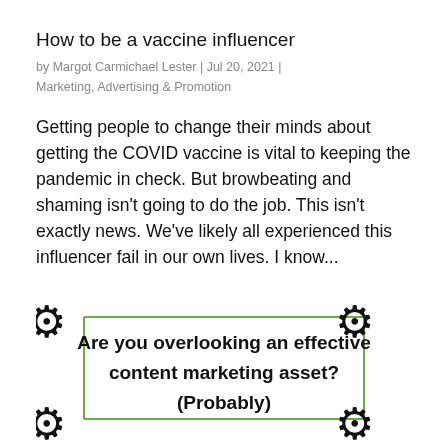How to be a vaccine influencer
by Margot Carmichael Lester | Jul 20, 2021 | Marketing, Advertising & Promotion
Getting people to change their minds about getting the COVID vaccine is vital to keeping the pandemic in check. But browbeating and shaming isn't going to do the job. This isn't exactly news. We've likely all experienced this influencer fail in our own lives. I know...
[Figure (infographic): Decorative box with four gear icons at corners connected by green lines forming a rectangle, containing bold text: 'Are you overlooking an effective content marketing asset? (Probably)']